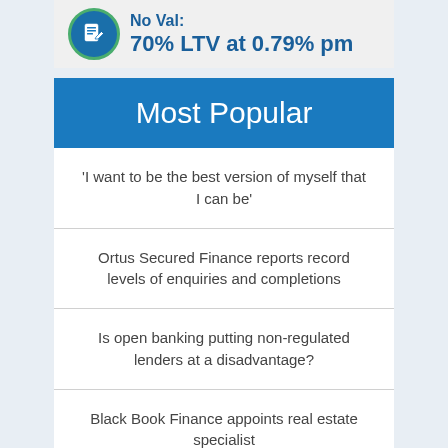[Figure (infographic): Banner with a circular icon showing a document/notepad with a pen, inside a blue circle with green border. Text reads 'No Val: 70% LTV at 0.79% pm']
Most Popular
'I want to be the best version of myself that I can be'
Ortus Secured Finance reports record levels of enquiries and completions
Is open banking putting non-regulated lenders at a disadvantage?
Black Book Finance appoints real estate specialist